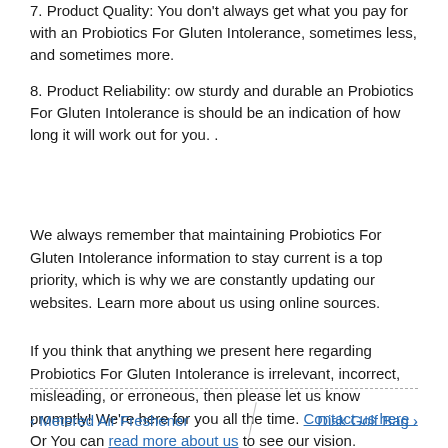7. Product Quality: You don't always get what you pay for with an Probiotics For Gluten Intolerance, sometimes less, and sometimes more.
8. Product Reliability: ow sturdy and durable an Probiotics For Gluten Intolerance is should be an indication of how long it will work out for you. .
We always remember that maintaining Probiotics For Gluten Intolerance information to stay current is a top priority, which is why we are constantly updating our websites. Learn more about us using online sources.
If you think that anything we present here regarding Probiotics For Gluten Intolerance is irrelevant, incorrect, misleading, or erroneous, then please let us know promptly! We're here for you all the time. Contact us here . Or You can read more about us to see our vision.
< Metered Air Freshener   |   Disk Golf Bag >